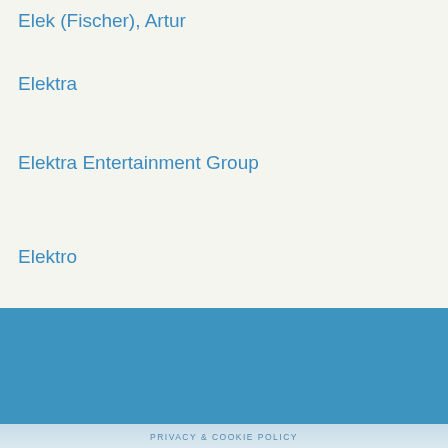Elek (Fischer), Artur
Elektra
Elektra Entertainment Group
Elektro
[Figure (infographic): Website footer with blue background containing social media icons (Facebook, Twitter, Instagram), navigation links (HOME, ABOUT US, HELP, SITE FEEDBACK), a back-to-top button, close button, and privacy & cookie policy link]
PRIVACY & COOKIE POLICY